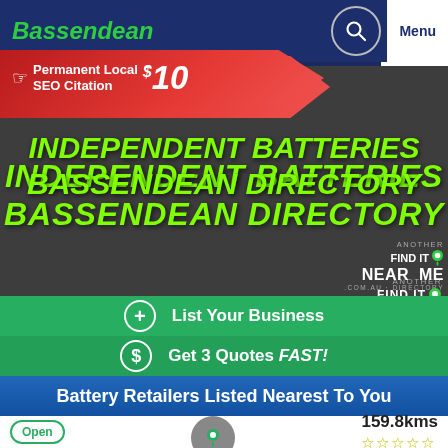Bassendean | Menu
[Figure (infographic): Red ribbon banner ad: Permanent Local SEO Citation $10]
INDEPENDENT BATTERIES BASSENDEAN DIRECTORY
[Figure (logo): Another Find It Near Me .com.au Directory logo]
+ List Your Business
$ Get 3 Quotes FAST!
Battery Retailers Listed Nearest To You
Open | 159.8kms | star rating (empty stars)